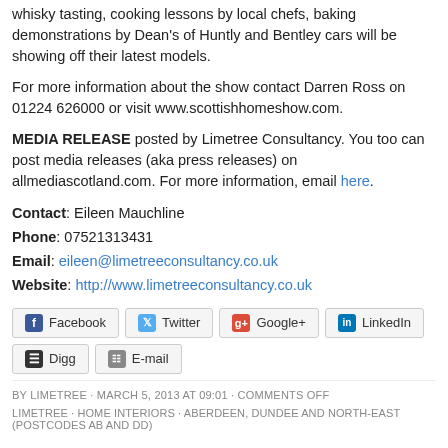whisky tasting, cooking lessons by local chefs, baking demonstrations by Dean's of Huntly and Bentley cars will be showing off their latest models.
For more information about the show contact Darren Ross on 01224 626000 or visit www.scottishhomeshow.com.
MEDIA RELEASE posted by Limetree Consultancy. You too can post media releases (aka press releases) on allmediascotland.com. For more information, email here.
Contact: Eileen Mauchline
Phone: 07521313431
Email: eileen@limetreeconsultancy.co.uk
Website: http://www.limetreeconsultancy.co.uk
[Figure (infographic): Social sharing buttons: Facebook, Twitter, Google+, LinkedIn, Digg, E-mail]
BY LIMETREE · MARCH 5, 2013 AT 09:01 · COMMENTS OFF
LIMETREE · HOME INTERIORS · ABERDEEN, DUNDEE AND NORTH-EAST (POSTCODES AB AND DD)